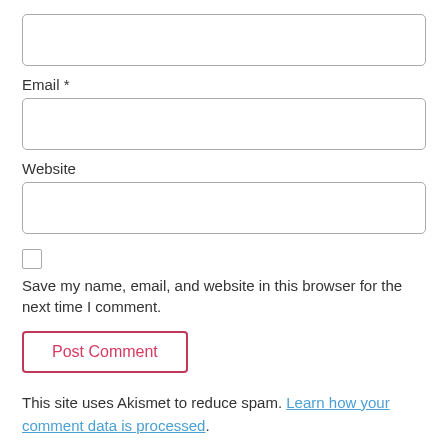[Figure (screenshot): Empty text input field (Name field, partially visible at top)]
Email *
[Figure (screenshot): Empty text input field for Email]
Website
[Figure (screenshot): Empty text input field for Website]
[Figure (screenshot): Unchecked checkbox]
Save my name, email, and website in this browser for the next time I comment.
[Figure (screenshot): Post Comment button with pink/red border and text]
This site uses Akismet to reduce spam. Learn how your comment data is processed.